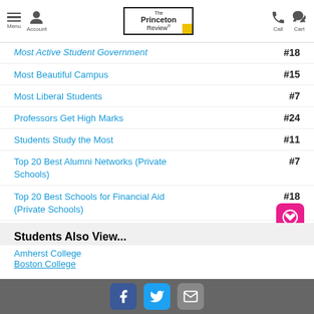Menu | Account | The Princeton Review | Call | Cart
Most Active Student Government #18
Most Beautiful Campus #15
Most Liberal Students #7
Professors Get High Marks #24
Students Study the Most #11
Top 20 Best Alumni Networks (Private Schools) #7
Top 20 Best Schools for Financial Aid (Private Schools) #18
Students Also View...
Amherst College
Boston College
Facebook | Twitter | Email